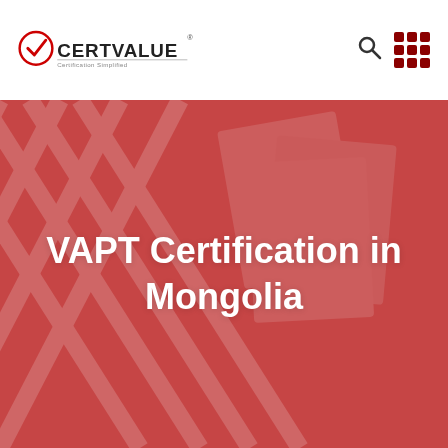CERTVALUE — Certification Simplified
[Figure (illustration): Red-tinted hero background image showing documents/papers on a table with diagonal cross pattern overlay]
VAPT Certification in Mongolia